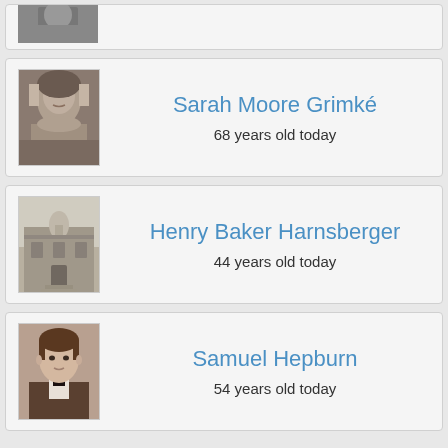[Figure (photo): Partial view of a portrait photo at top of page, mostly cropped]
Sarah Moore Grimké
68 years old today
[Figure (photo): Black and white portrait photo of Sarah Moore Grimké, elderly woman]
Henry Baker Harnsberger
44 years old today
[Figure (photo): Black and white photo of a historic building with a dome]
Samuel Hepburn
54 years old today
[Figure (photo): Sepia portrait photo of Samuel Hepburn, young man in 19th century clothing]